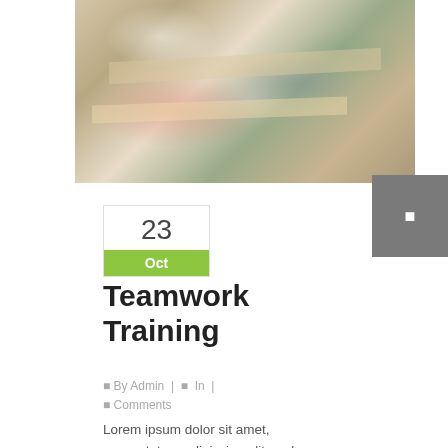[Figure (photo): Overhead view of a busy open-plan office/studio with people working at large tables with papers and documents spread out. Multiple people visible including a woman in a red top, a woman in white, and a man in a blue shirt.]
23
Oct
Teamwork Training
□ By Admin | □ In | □ Comments
Lorem ipsum dolor sit amet, consectetuer adipiscing elit, sed